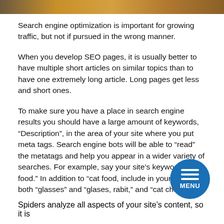[Figure (photo): Top banner image with warm golden-brown gradient/photo strip]
Search engine optimization is important for growing traffic, but not if pursued in the wrong manner.
When you develop SEO pages, it is usually better to have multiple short articles on similar topics than to have one extremely long article. Long pages get less and short ones.
To make sure you have a place in search engine results you should have a large amount of keywords, “Description”, in the area of your site where you put meta tags. Search engine bots will be able to “read” the metatags and help you appear in a wider variety of searches. For example, say your site’s keyword is “cat food.” In addition to “cat food, include in your metatag both “glasses” and “glases, rabit,” and “cat chow.
Spiders analyze all aspects of your site’s content, so it is